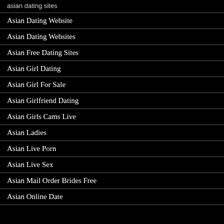asian dating sites
Asian Dating Website
Asian Dating Websites
Asian Free Dating Sites
Asian Girl Dating
Asian Girl For Sale
Asian Girlfriend Dating
Asian Girls Cams Live
Asian Ladies
Asian Live Porn
Asian Live Sex
Asian Mail Order Brides Free
Asian Online Date